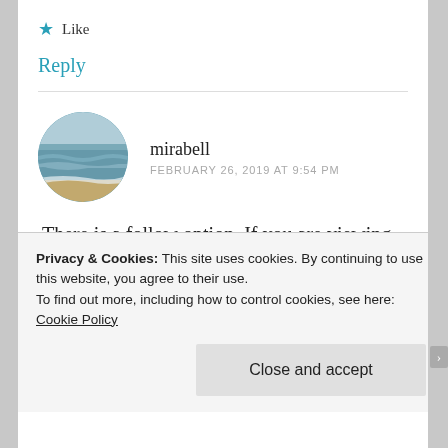★ Like
Reply
mirabell
FEBRUARY 26, 2019 AT 9:54 PM
[Figure (photo): Circular avatar photo showing a beach/ocean scene with waves and sky]
There is a follow option. If you are viewing this in a phone, you won't see it unless you scroll to the right. If you are reading this on a bigger
Privacy & Cookies: This site uses cookies. By continuing to use this website, you agree to their use.
To find out more, including how to control cookies, see here: Cookie Policy
Close and accept